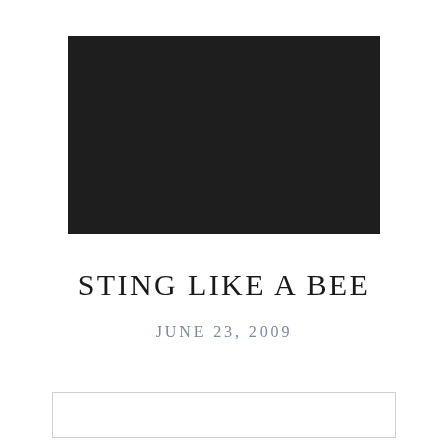[Figure (photo): A large dark/black rectangular image placeholder occupying the upper portion of the page]
STING LIKE A BEE
JUNE 23, 2009